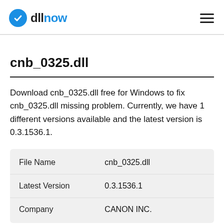dllnow
cnb_0325.dll
Download cnb_0325.dll free for Windows to fix cnb_0325.dll missing problem. Currently, we have 1 different versions available and the latest version is 0.3.1536.1.
| File Name | cnb_0325.dll |
| --- | --- |
| Latest Version | 0.3.1536.1 |
| Company | CANON INC. |